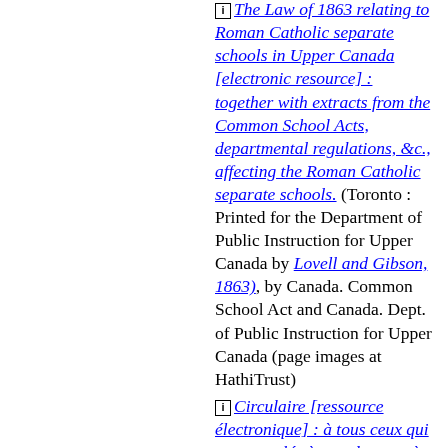of Education (page images at HathiTrust; US access only)
[i] The Law of 1863 relating to Roman Catholic separate schools in Upper Canada [electronic resource] : together with extracts from the Common School Acts, departmental regulations, &c., affecting the Roman Catholic separate schools. (Toronto : Printed for the Department of Public Instruction for Upper Canada by Lovell and Gibson, 1863), by Canada. Common School Act and Canada. Dept. of Public Instruction for Upper Canada (page images at HathiTrust)
[i] Circulaire [ressource électronique] : à tous ceux qui sont appelés à prendre part à la mise en opération de l'Acte des écoles : à l'approche de l'époque où les rapports des écoles devront être transmis au Bureau